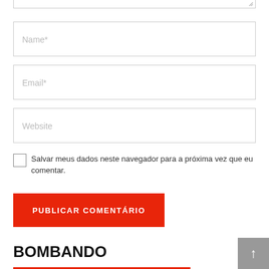[Figure (screenshot): Partial bottom edge of a text area input field with resize handle in bottom-right corner]
Name*
Email*
Website
Salvar meus dados neste navegador para a próxima vez que eu comentar.
PUBLICAR COMENTÁRIO
BOMBANDO